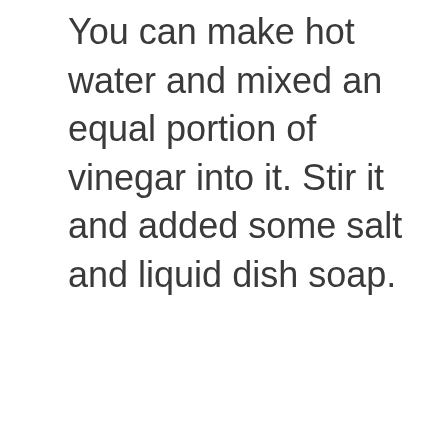You can make hot water and mixed an equal portion of vinegar into it. Stir it and added some salt and liquid dish soap.